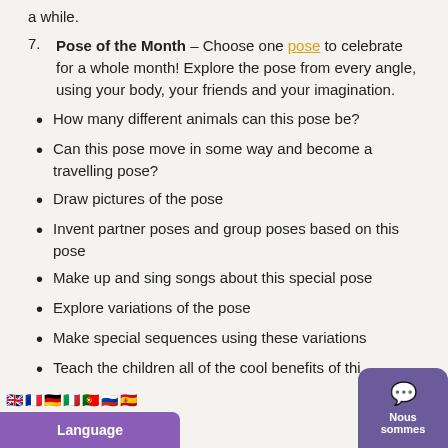a while.
7. Pose of the Month – Choose one pose to celebrate for a whole month! Explore the pose from every angle, using your body, your friends and your imagination.
How many different animals can this pose be?
Can this pose move in some way and become a travelling pose?
Draw pictures of the pose
Invent partner poses and group poses based on this pose
Make up and sing songs about this special pose
Explore variations of the pose
Make special sequences using these variations
Teach the children all of the cool benefits of this...